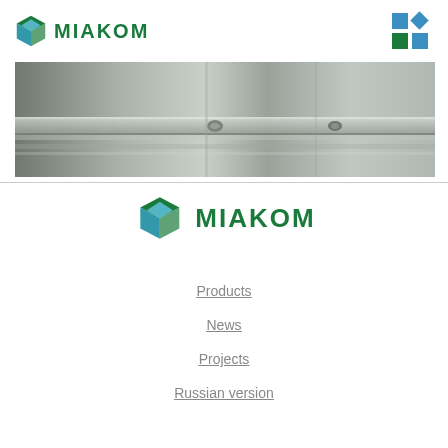MIAKOM header with logo and navigation icons
[Figure (photo): Grayscale photo of industrial surface or machinery component, close-up view showing metal tracks or rails]
[Figure (logo): MIAKOM logo with green cube icon and bold green text MIAKOM]
Products
News
Projects
Russian version